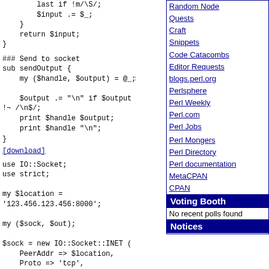last if !m/\S/;
        $input .= $_;
    }
    return $input;
}
### Send to socket
sub sendOutput {
    my ($handle, $output) = @_;

    $output .= "\n" if $output
!~ /\n$/;
    print $handle $output;
    print $handle "\n";
}
[download]
use IO::Socket;
use strict;

my $location =
'123.456.123.456:8000';

my ($sock, $out);

$sock = new IO::Socket::INET (
    PeerAddr => $location,
    Proto => 'tcp',
);

# ...
Random Node
Quests
Craft
Snippets
Code Catacombs
Editor Requests
blogs.perl.org
Perlsphere
Perl Weekly
Perl.com
Perl Jobs
Perl Mongers
Perl Directory
Perl documentation
MetaCPAN
CPAN
Voting Booth
No recent polls found
Notices